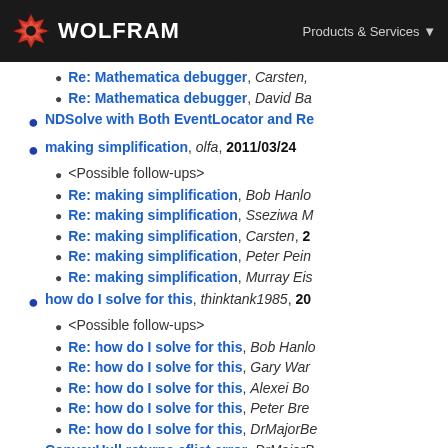WOLFRAM | Products & Services
Re: Mathematica debugger, Carsten,
Re: Mathematica debugger, David Ba
NDSolve with Both EventLocator and Re
making simplification, olfa, 2011/03/24
<Possible follow-ups>
Re: making simplification, Bob Hanlo
Re: making simplification, Sseziwa M
Re: making simplification, Carsten, 2
Re: making simplification, Peter Pein
Re: making simplification, Murray Eis
how do I solve for this, thinktank1985, 20
<Possible follow-ups>
Re: how do I solve for this, Bob Hanlo
Re: how do I solve for this, Gary War
Re: how do I solve for this, Alexei Bo
Re: how do I solve for this, Peter Bre
Re: how do I solve for this, DrMajorBe
ConvexHull returns cflist error, DrMajorB